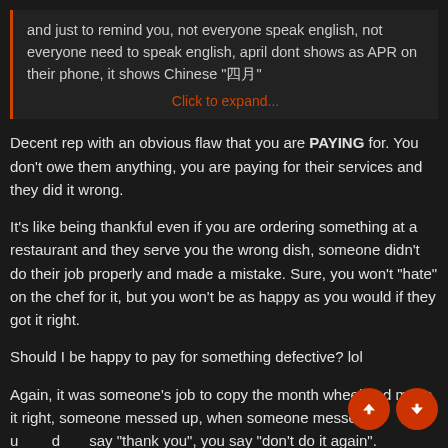and just to remind you, not everyone speak english, not everyone need to speak english, april dont shows as APR on their phone, it shows Chinese "四月"
Click to expand...
Decent rep with an obvious flaw that you are PAYING for. You don't owe them anything, you are paying for their services and they did it wrong.
It's like being thankful even if you are ordering something at a restaurant and they serve you the wrong dish, someone didn't do their job properly and made a mistake. Sure, you won't "hate" on the chef for it, but you won't be as happy as you would if they got it right.
Should I be happy to pay for something defective? lol
Again, it was someone's job to copy the month wheel and make it right, someone messed up, when someone messes up, don't say "thank you", you say "don't do it again". Moreover, you don't need to speak a language to see the difference between APR and